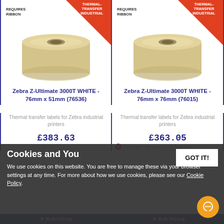[Figure (illustration): Label roll (Zebra Z-Ultimate 3000T WHITE 76mm x 51mm) with thermal-transfer industrial badge and requires ribbon text]
Zebra Z-Ultimate 3000T WHITE - 76mm x 51mm (76536)
Thermal transfer labels for Zebra industrial printers
£383.63
[Figure (illustration): Label roll (Zebra Z-Ultimate 3000T WHITE 76mm x 76mm) with thermal-transfer industrial badge and requires ribbon text]
Zebra Z-Ultimate 3000T WHITE - 76mm x 76mm (76015)
Thermal transfer labels for Zebra industrial printers
£363.05
Cookies and You
We use cookies on this website. You are free to manage these via your browser settings at any time. For more about how we use cookies, please see our Cookie Policy.